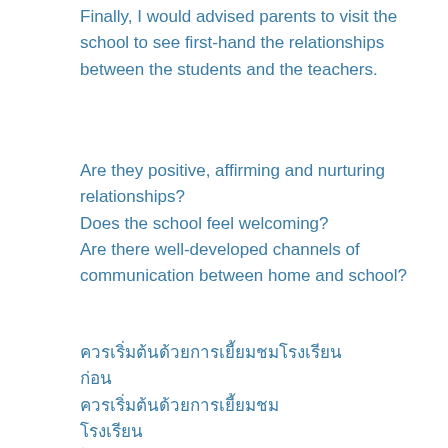Finally, I would advised parents to visit the school to see first-hand the relationships between the students and the teachers.
Are they positive, affirming and nurturing relationships?
Does the school feel welcoming?
Are there well-developed channels of communication between home and school?
Thai text lines (untranscribed)